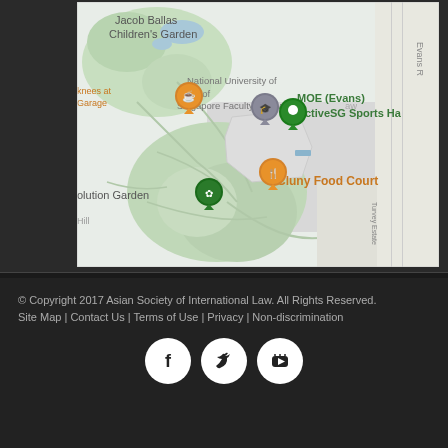[Figure (map): Google Maps screenshot showing area around National University of Singapore Faculty of Law, Jacob Ballas Children's Garden, MOE (Evans) ActiveSG Sports Hall, Cluny Food Court, and Evolution Garden near Evans Road, Singapore.]
© Copyright 2017 Asian Society of International Law. All Rights Reserved.
Site Map | Contact Us | Terms of Use | Privacy | Non-discrimination